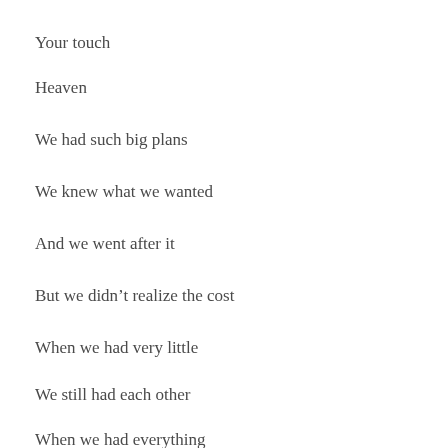Your touch
Heaven
We had such big plans
We knew what we wanted
And we went after it
But we didn't realize the cost
When we had very little
We still had each other
When we had everything